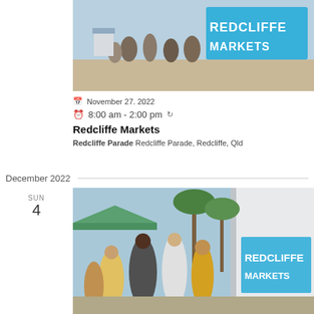[Figure (photo): People at Redcliffe Markets with large blue 'Redcliffe Markets' letter signage in background, outdoor sunny day]
November 27. 2022
8:00 am - 2:00 pm
Redcliffe Markets
Redcliffe Parade Redcliffe Parade, Redcliffe, Qld
December 2022
SUN 4
[Figure (photo): People walking at Redcliffe Markets outdoors with palm trees and blue 'Redcliffe' letter signage, sunny day]